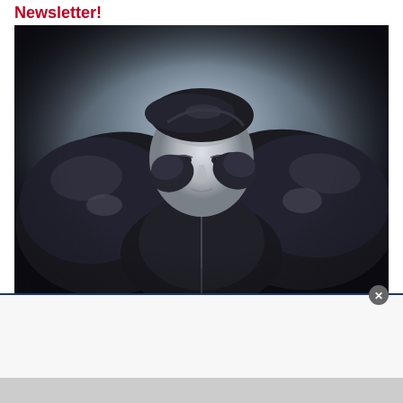Newsletter!
[Figure (photo): Black and white dramatic portrait photo of a young person wearing a shiny black leather jacket, arms raised with hands behind head, pale face gazing directly at camera against a dark vignette background.]
[Figure (screenshot): White modal/popup overlay box with a close button (X) in the upper right corner, partially overlapping the photo.]